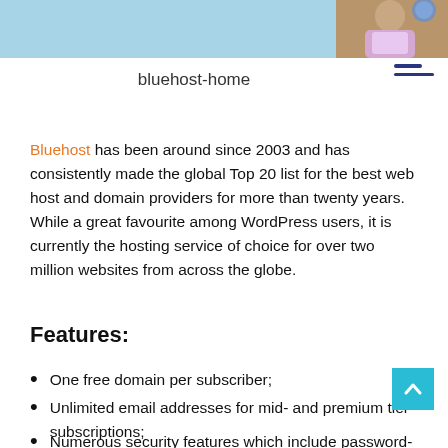[Figure (photo): Website screenshot header banner showing a light blue band on the left and a photo of a person on the right]
bluehost-home
Bluehost has been around since 2003 and has consistently made the global Top 20 list for the best web host and domain providers for more than twenty years. While a great favourite among WordPress users, it is currently the hosting service of choice for over two million websites from across the globe.
Features:
One free domain per subscriber;
Unlimited email addresses for mid- and premium tier subscriptions;
Numerous security features which include password-protected directories, one-click integration with